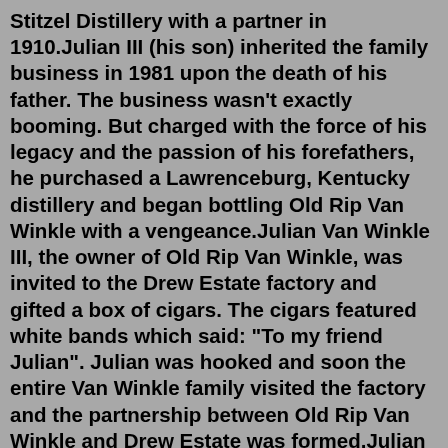Stitzel Distillery with a partner in 1910.Julian III (his son) inherited the family business in 1981 upon the death of his father. The business wasn't exactly booming. But charged with the force of his legacy and the passion of his forefathers, he purchased a Lawrenceburg, Kentucky distillery and began bottling Old Rip Van Winkle with a vengeance.Julian Van Winkle III, the owner of Old Rip Van Winkle, was invited to the Drew Estate factory and gifted a box of cigars. The cigars featured white bands which said: "To my friend Julian". Julian was hooked and soon the entire Van Winkle family visited the factory and the partnership between Old Rip Van Winkle and Drew Estate was formed.Julian Van Winkle. + Add or change photo on IMDbPro ». Contribute to IMDb. Add a bio, trivia, and more. Update information for Julian Van Winkle ».A Brief History of Pappy Van Winkle and Old Rip Van Winkle Bourbon. The Old Rip Van Winkle Distillery has a four-generation history. The Van Winkle family's involvement in the bourbon industry began in the late 1800s with Juli...